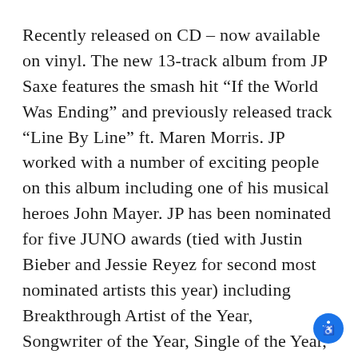Recently released on CD – now available on vinyl. The new 13-track album from JP Saxe features the smash hit “If the World Was Ending” and previously released track “Line By Line” ft. Maren Morris. JP worked with a number of exciting people on this album including one of his musical heroes John Mayer. JP has been nominated for five JUNO awards (tied with Justin Bieber and Jessie Reyez for second most nominated artists this year) including Breakthrough Artist of the Year, Songwriter of the Year, Single of the Year, Pop Album of the Year and Fan Choice Award.